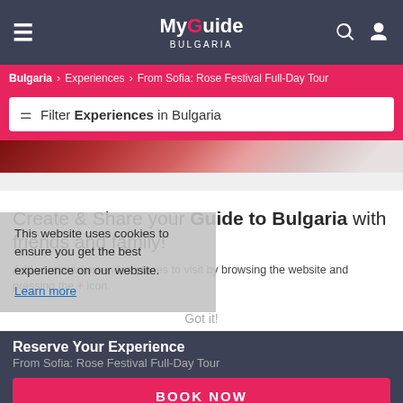MyGuide BULGARIA — navigation bar with hamburger menu, logo, search and user icons
Bulgaria > Experiences > From Sofia: Rose Festival Full-Day Tour
Filter Experiences in Bulgaria
[Figure (photo): Partial image of Rose Festival, cropped strip showing decorative items in red and white tones]
Create & Share your Guide to Bulgaria with friends and family!
Add your recommended places to visit by browsing the website and pressing the + icon.
This website uses cookies to ensure you get the best experience on our website.
Learn more
Got it!
Reserve Your Experience
From Sofia: Rose Festival Full-Day Tour
BOOK NOW